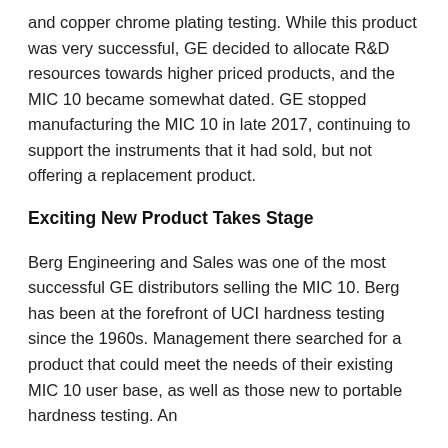and copper chrome plating testing. While this product was very successful, GE decided to allocate R&D resources towards higher priced products, and the MIC 10 became somewhat dated. GE stopped manufacturing the MIC 10 in late 2017, continuing to support the instruments that it had sold, but not offering a replacement product.
Exciting New Product Takes Stage
Berg Engineering and Sales was one of the most successful GE distributors selling the MIC 10. Berg has been at the forefront of UCI hardness testing since the 1960s. Management there searched for a product that could meet the needs of their existing MIC 10 user base, as well as those new to portable hardness testing. An